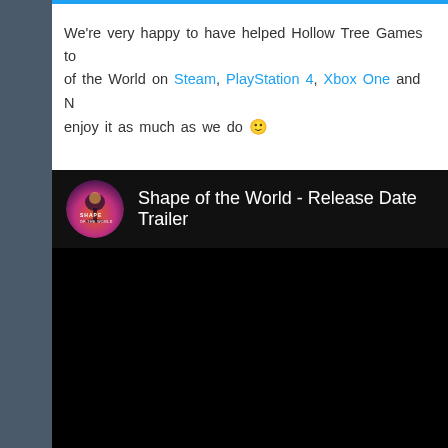We're very happy to have helped Hollow Tree Games to release Shape of the World on Steam, PlayStation 4, Xbox One and N... enjoy it as much as we do 🙂
[Figure (screenshot): Embedded video thumbnail showing Shape of the World - Release Date Trailer with the game logo (circular badge with purple/pink background showing a stylized tree silhouette and text 'SHAPE OF THE WORLD') followed by video title text on dark background]